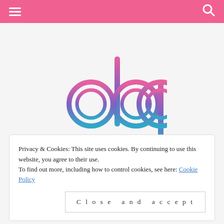Navigation bar with hamburger menu and search icon
[Figure (logo): ABP logo in gradient pink-purple-teal outlined rounded letters spelling 'abp']
Privacy & Cookies: This site uses cookies. By continuing to use this website, you agree to their use.
To find out more, including how to control cookies, see here: Cookie Policy
Close and accept